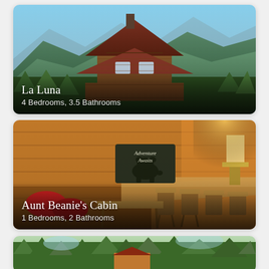[Figure (photo): Aerial/exterior view of a large log cabin named La Luna with mountain backdrop, green forested hills, red metal roof, wraparound porch]
La Luna
4 Bedrooms, 3.5 Bathrooms
[Figure (photo): Interior of a rustic log cabin with wooden walls, bar-height table, stools, red cushioned seating, and a chalkboard bear sign saying 'Adventure Awaits']
Aunt Beanie's Cabin
1 Bedrooms, 2 Bathrooms
[Figure (photo): Partial exterior view of a cabin surrounded by dense green trees, partially visible at bottom of page]